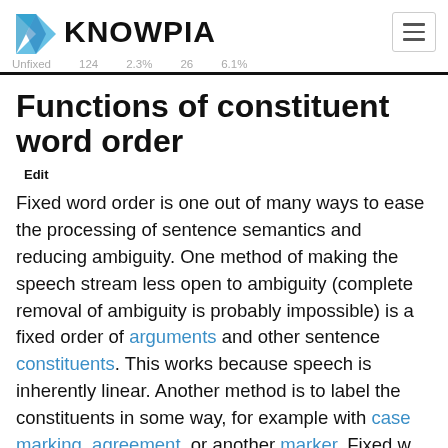KNOWPIA
Functions of constituent word order
Edit
Fixed word order is one out of many ways to ease the processing of sentence semantics and reducing ambiguity. One method of making the speech stream less open to ambiguity (complete removal of ambiguity is probably impossible) is a fixed order of arguments and other sentence constituents. This works because speech is inherently linear. Another method is to label the constituents in some way, for example with case marking, agreement, or another marker. Fixed w order reduces expressiveness but added marking increases information load in the speech stream and